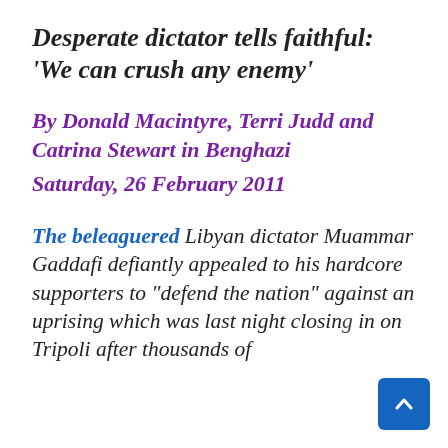Desperate dictator tells faithful: 'We can crush any enemy'
By Donald Macintyre, Terri Judd and Catrina Stewart in Benghazi Saturday, 26 February 2011
The beleaguered Libyan dictator Muammar Gaddafi defiantly appealed to his hardcore supporters to "defend the nation" against an uprising which was last night closing in on Tripoli after thousands of